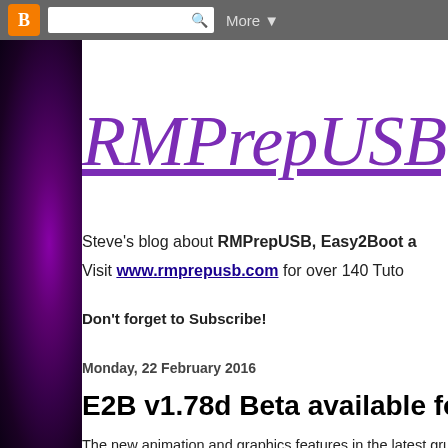Blogger | Search | More
RMPrepUSB, E
Steve's blog about RMPrepUSB, Easy2Boot a
Visit www.rmprepusb.com for over 140 Tuto
Don't forget to Subscribe!
Monday, 22 February 2016
E2B v1.78d Beta available for testim
The new animation and graphics features in the latest gru
cycle animated GIF-on-menu feature from working), but
if desired!) before the menu is loaded. You can also define
'stamps'. It will also be possible to use different stamps fo